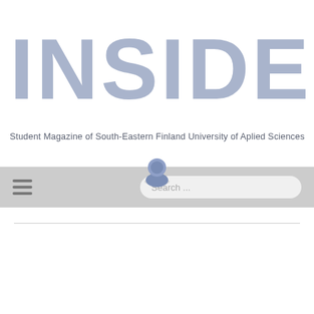INSIDER
Student Magazine of South-Eastern Finland University of Aplied Sciences
[Figure (screenshot): Website navigation bar with hamburger menu icon on the left and a search bar on the right, with a user avatar icon centered above the bar]
[Figure (other): Thin horizontal divider line below the navigation bar]